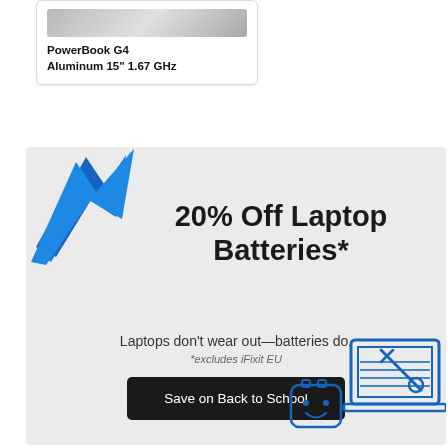[Figure (other): Product card showing PowerBook G4 Aluminum laptop image thumbnail]
PowerBook G4 Aluminum 15" 1.67 GHz
[Figure (infographic): Promotional banner: 20% Off Laptop Batteries. Laptops don't wear out—batteries do. *excludes iFixit EU. Save on Back to School button. Blue arrow graphic top-left, laptop/battery illustration bottom-right.]